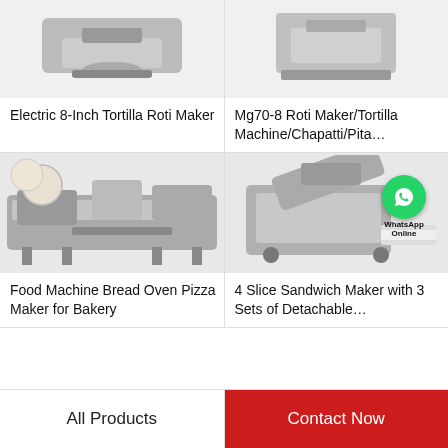[Figure (photo): Electric 8-Inch Tortilla Roti Maker machine, top portion cropped]
[Figure (photo): Mg70-8 Roti Maker/Tortilla Machine partial view, top cropped]
Electric 8-Inch Tortilla Roti Maker
Mg70-8 Roti Maker/Tortilla Machine/Chapatti/Pita…
[Figure (photo): Food Machine Bread Oven Pizza Maker for Bakery - large industrial conveyor/pressing machine with tortilla dough]
[Figure (photo): 4 Slice Sandwich Maker with 3 Sets of Detachable machine with WhatsApp Online badge overlay]
Food Machine Bread Oven Pizza Maker for Bakery
4 Slice Sandwich Maker with 3 Sets of Detachable…
All Products
Contact Now